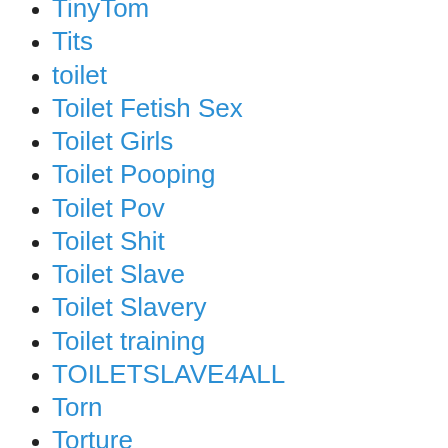TinyTom
Tits
toilet
Toilet Fetish Sex
Toilet Girls
Toilet Pooping
Toilet Pov
Toilet Shit
Toilet Slave
Toilet Slavery
Toilet training
TOILETSLAVE4ALL
Torn
Torture
Toys
Toys, Fisting & Rosebutt
Trampling